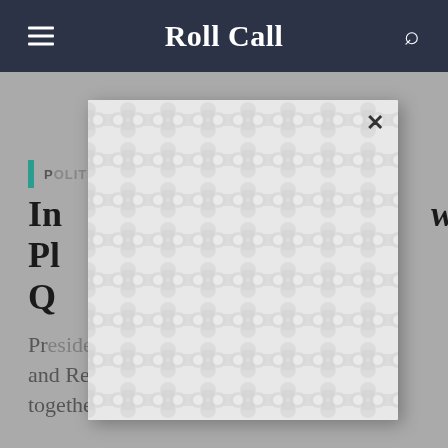Roll Call
[Figure (screenshot): Modal popup with decorative geometric pattern (interlocking circular shapes) and a close X button, overlaying the article page]
POLITICS
In ... W Pl... Q...
Pr... and Republicans can come together' around nominee